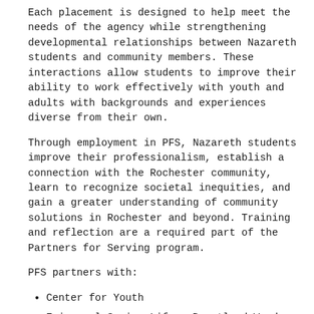Each placement is designed to help meet the needs of the agency while strengthening developmental relationships between Nazareth students and community members. These interactions allow students to improve their ability to work effectively with youth and adults with backgrounds and experiences diverse from their own.
Through employment in PFS, Nazareth students improve their professionalism, establish a connection with the Rochester community, learn to recognize societal inequities, and gain a greater understanding of community solutions in Rochester and beyond. Training and reflection are a required part of the Partners for Serving program.
PFS partners with:
Center for Youth
Episcopal Senior Life - Brentland Woods
Generation 2
Highland Hospital Elder Life Program (HELP)
Jewish Family Services - Paper & Pencils